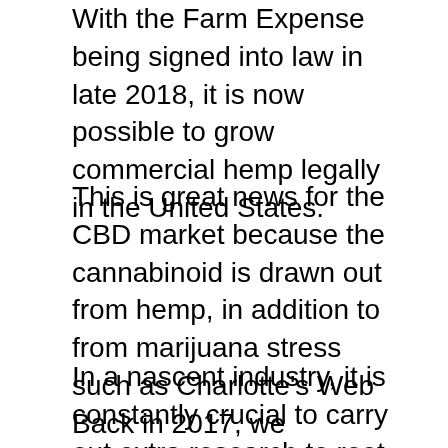With the Farm Expense being signed into law in late 2018, it is now possible to grow commercial hemp legally in the United States.
This is great news for the CBD market because the cannabinoid is drawn out from hemp, in addition to from marijuana stress such as Charlotte's Web Back in 2017, we evaluated Diamond CBD and kept in mind the lack of evidence for a myriad of claims made by the business.
In a nascent industry, it is constantly crucial to carry out extra research to root out any bad apples. While we weren't particularly happy with everything we saw from Diamond CBD back then, we might see that it was a